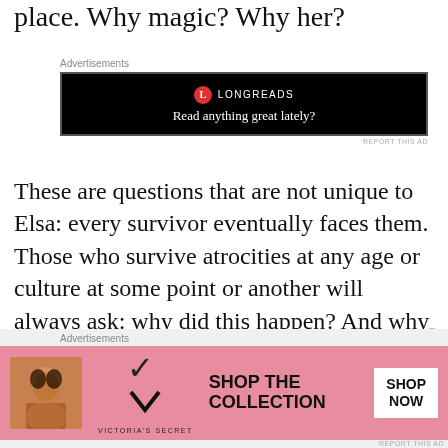place. Why magic? Why her?
[Figure (screenshot): Longreads advertisement banner with black background showing the Longreads logo (red circle with L) and tagline 'Read anything great lately?']
These are questions that are not unique to Elsa: every survivor eventually faces them. Those who survive atrocities at any age or culture at some point or another will always ask: why did this happen? And why did it happen to me (p. 189)? Making sense of this undeserved suffering is a
[Figure (screenshot): Victoria's Secret advertisement banner with pink background showing a model, VS chevron logo, 'SHOP THE COLLECTION' text, and 'SHOP NOW' button]